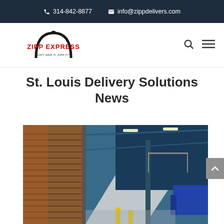314-842-8877  info@zippdelivers.com
[Figure (logo): Zipp Express logo with arch and bird graphic, red and black text]
St. Louis Delivery Solutions News
[Figure (photo): Interior of a large warehouse/loading dock with metal roll-up doors on the left, blue steel structure and ceiling lights in the background, yellow bollards in the foreground, and a truck visible at the far right]